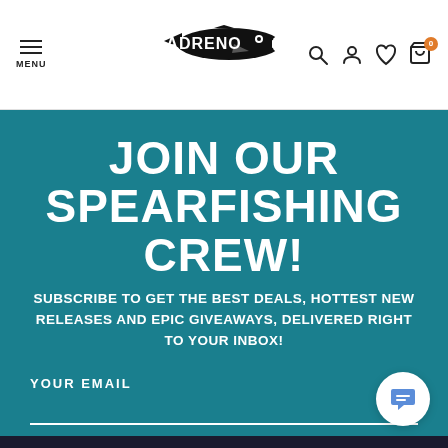[Figure (logo): Adreno brand logo with stylized fish/tuna icon and text ADRENO]
JOIN OUR SPEARFISHING CREW!
SUBSCRIBE TO GET THE BEST DEALS, HOTTEST NEW RELEASES AND EPIC GIVEAWAYS, DELIVERED RIGHT TO YOUR INBOX!
YOUR EMAIL
SUBSCRIBE